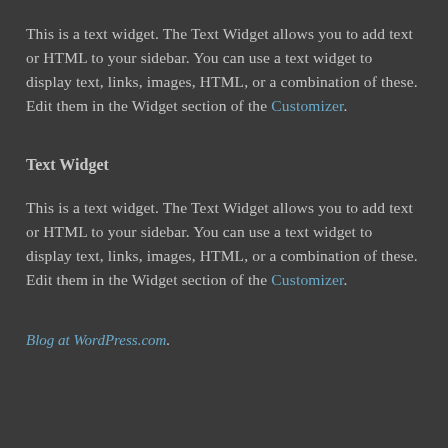This is a text widget. The Text Widget allows you to add text or HTML to your sidebar. You can use a text widget to display text, links, images, HTML, or a combination of these. Edit them in the Widget section of the Customizer.
Text Widget
This is a text widget. The Text Widget allows you to add text or HTML to your sidebar. You can use a text widget to display text, links, images, HTML, or a combination of these. Edit them in the Widget section of the Customizer.
Blog at WordPress.com.